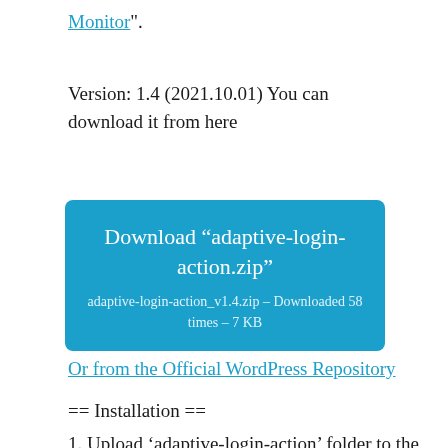Monitor".
Version: 1.4 (2021.10.01) You can download it from here
[Figure (other): Download button box with title 'Download “adaptive-login-action.zip”' and subtitle 'adaptive-login-action_v1.4.zip – Downloaded 58 times – 7 KB']
Or from the Official WordPress Repository
== Installation ==
1. Upload ‘adaptive-login-action’ folder to the